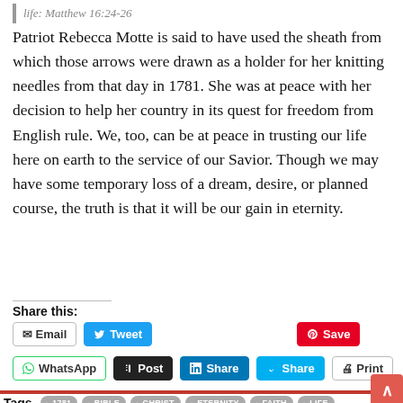life: Matthew 16:24-26
Patriot Rebecca Motte is said to have used the sheath from which those arrows were drawn as a holder for her knitting needles from that day in 1781. She was at peace with her decision to help her country in its quest for freedom from English rule. We, too, can be at peace in trusting our life here on earth to the service of our Savior. Though we may have some temporary loss of a dream, desire, or planned course, the truth is that it will be our gain in eternity.
Share this:
[Figure (screenshot): Social share buttons: Email, Tweet, Save (Pinterest), WhatsApp, Post (Tumblr), Share (LinkedIn), Share (Skype), Print]
Tags: 1781, BIBLE, CHRIST, ETERNITY, FAITH, LIFE, REBECCA BREWTON MOTTE, REVOLUTIONARY WAR, SAVIOR